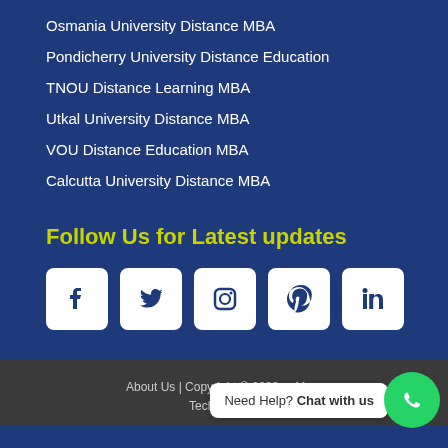Osmania University Distance MBA
Pondicherry University Distance Education
TNOU Distance Learning MBA
Utkal University Distance MBA
VOU Distance Education MBA
Calcutta University Distance MBA
Follow Us for Latest updates
[Figure (infographic): Social media icons: Facebook, Twitter, Instagram, Pinterest, LinkedIn displayed as white square icons with rounded corners on blue background]
About Us | Copyright © 2022 ... Technologies